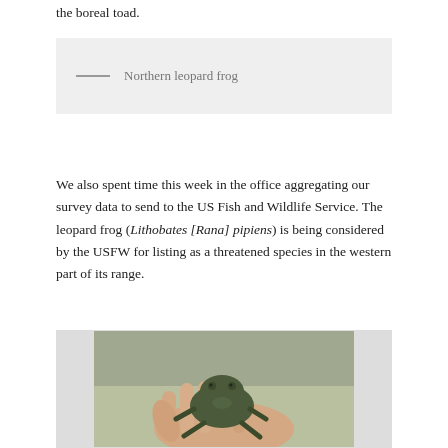the boreal toad.
[Figure (other): Legend box with a gray horizontal line and the label 'Northern leopard frog']
We also spent time this week in the office aggregating our survey data to send to the US Fish and Wildlife Service. The leopard frog (Lithobates [Rana] pipiens) is being considered by the USFW for listing as a threatened species in the western part of its range.
[Figure (photo): A photograph of a small dark green frog or toad being held in an open human hand, with a blurred outdoor background.]